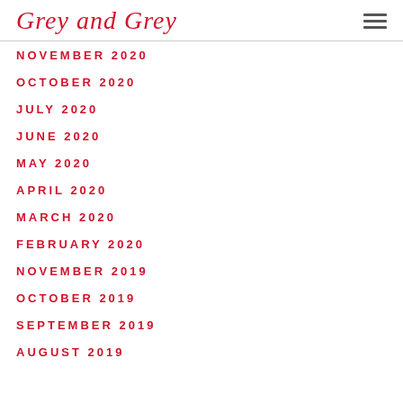Grey and Grey
NOVEMBER 2020
OCTOBER 2020
JULY 2020
JUNE 2020
MAY 2020
APRIL 2020
MARCH 2020
FEBRUARY 2020
NOVEMBER 2019
OCTOBER 2019
SEPTEMBER 2019
AUGUST 2019